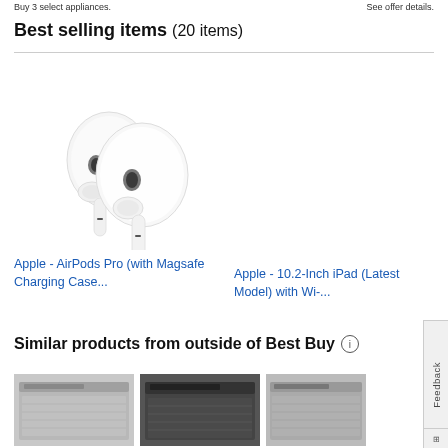Buy 3 select appliances.    See offer details.
Best selling items (20 items)
[Figure (photo): Apple AirPods Pro white earbuds product photo on white background]
Apple - AirPods Pro (with Magsafe Charging Case...
Apple - 10.2-Inch iPad (Latest Model) with Wi-...
Similar products from outside of Best Buy
[Figure (photo): Stainless steel dishwasher product photo]
[Figure (photo): Black/stainless dishwasher product photo]
[Figure (photo): Stainless steel dishwasher product photo (third)]